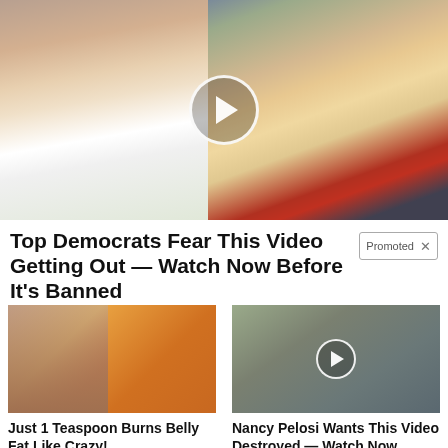[Figure (photo): Main video thumbnail showing two political figures, a woman on the left and a man in a suit with red tie on the right, with a play button overlay circle in the center]
Top Democrats Fear This Video Getting Out — Watch Now Before It's Banned
Promoted X
[Figure (photo): Thumbnail showing a fitness photo and a spoon with spices for belly fat article]
Just 1 Teaspoon Burns Belly Fat Like Crazy!
🔥 4,029
[Figure (photo): Thumbnail of a woman politician with a play button overlay]
Nancy Pelosi Wants This Video Destroyed — Watch Now Before It's Banned
🔥 599,988